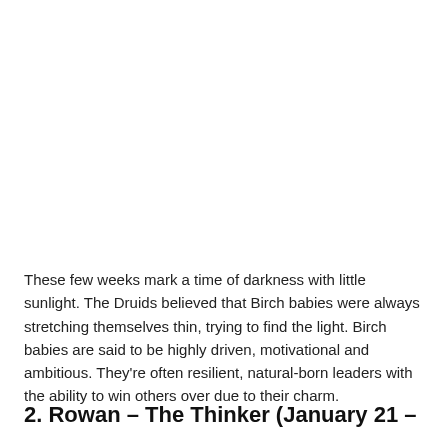These few weeks mark a time of darkness with little sunlight. The Druids believed that Birch babies were always stretching themselves thin, trying to find the light. Birch babies are said to be highly driven, motivational and ambitious. They're often resilient, natural-born leaders with the ability to win others over due to their charm.
2. Rowan – The Thinker (January 21 –